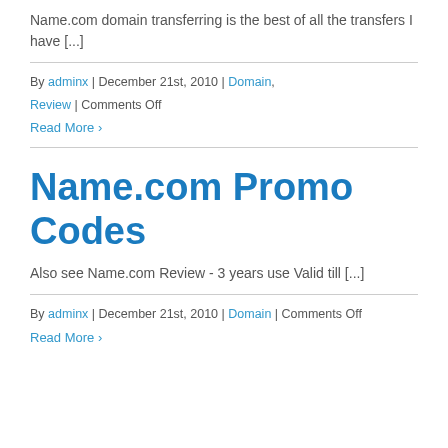Name.com domain transferring is the best of all the transfers I have [...]
By adminx | December 21st, 2010 | Domain, Review | Comments Off
Read More >
Name.com Promo Codes
Also see Name.com Review - 3 years use Valid till [...]
By adminx | December 21st, 2010 | Domain | Comments Off
Read More >